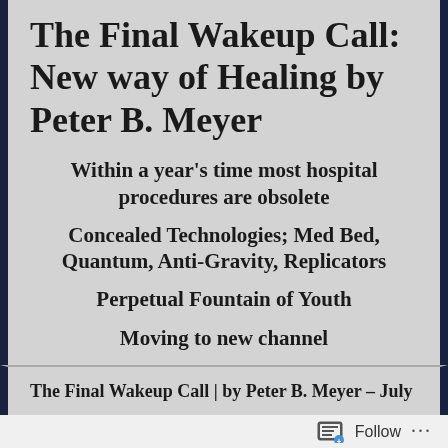The Final Wakeup Call: New way of Healing by Peter B. Meyer
Within a year’s time most hospital procedures are obsolete
Concealed Technologies; Med Bed, Quantum, Anti-Gravity, Replicators
Perpetual Fountain of Youth
Moving to new channel
The Final Wakeup Call | by Peter B. Meyer – July